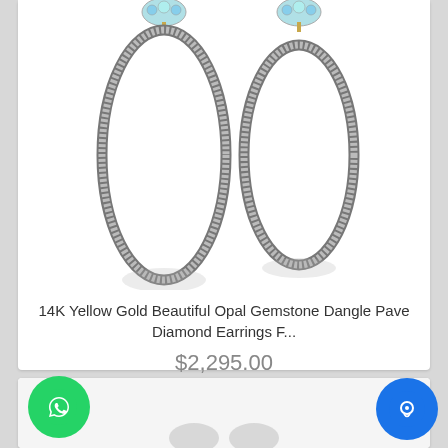[Figure (photo): Product photo of two teardrop-shaped dangle earrings with pave diamond settings and opal gemstone tops, displayed on white background with reflection]
14K Yellow Gold Beautiful Opal Gemstone Dangle Pave Diamond Earrings F...
$2,295.00
[Figure (logo): WhatsApp green circle button with phone handset icon]
[Figure (photo): Bottom product card partially visible]
[Figure (logo): Blue circle chat button with chat bubble icon]